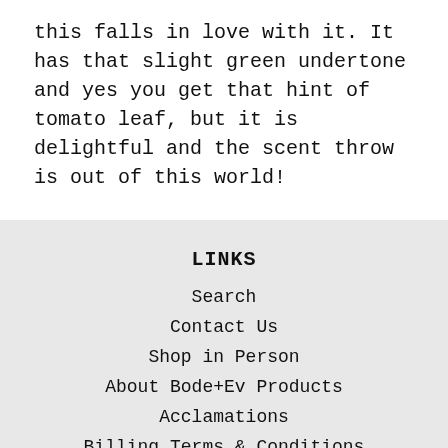this falls in love with it. It has that slight green undertone and yes you get that hint of tomato leaf, but it is delightful and the scent throw is out of this world!
LINKS
Search
Contact Us
Shop in Person
About Bode+Ev Products
Acclamations
Billing Terms & Conditions
Privacy Policy
Shipping Policy